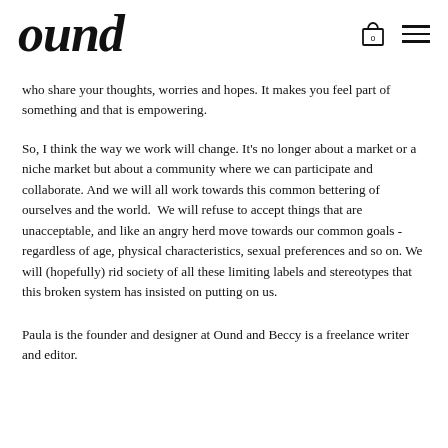ound
who share your thoughts, worries and hopes. It makes you feel part of something and that is empowering.
So, I think the way we work will change. It's no longer about a market or a niche market but about a community where we can participate and collaborate. And we will all work towards this common bettering of ourselves and the world.  We will refuse to accept things that are unacceptable, and like an angry herd move towards our common goals - regardless of age, physical characteristics, sexual preferences and so on. We will (hopefully) rid society of all these limiting labels and stereotypes that this broken system has insisted on putting on us.
Paula is the founder and designer at Ound and Beccy is a freelance writer and editor.